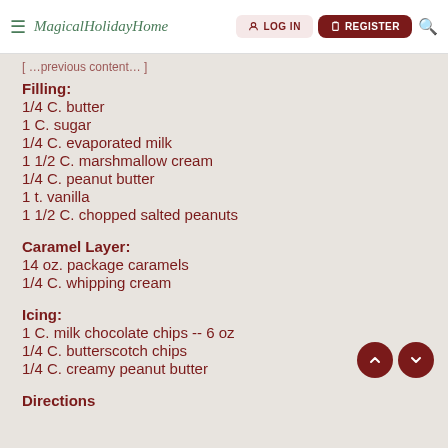MagicalHolidayHome | LOG IN | REGISTER
[ partial previous line ]
Filling:
1/4 C. butter
1 C. sugar
1/4 C. evaporated milk
1 1/2 C. marshmallow cream
1/4 C. peanut butter
1 t. vanilla
1 1/2 C. chopped salted peanuts
Caramel Layer:
14 oz. package caramels
1/4 C. whipping cream
Icing:
1 C. milk chocolate chips -- 6 oz
1/4 C. butterscotch chips
1/4 C. creamy peanut butter
Directions